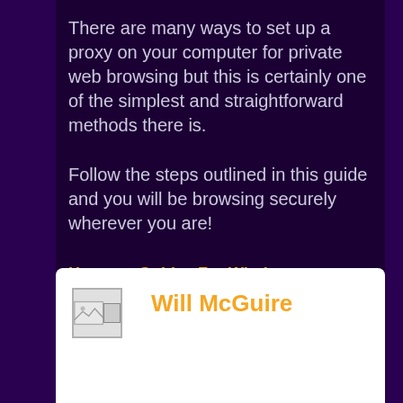There are many ways to set up a proxy on your computer for private web browsing but this is certainly one of the simplest and straightforward methods there is.
Follow the steps outlined in this guide and you will be browsing securely wherever you are!
Home » Guides For Windows /
Will McGuire